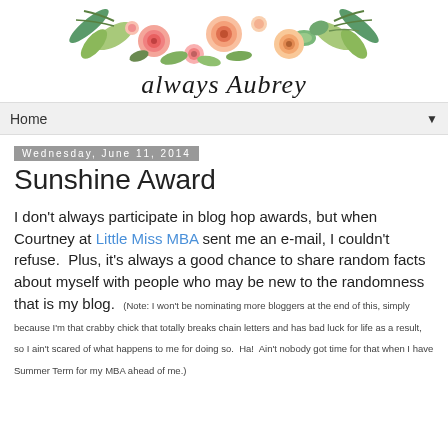[Figure (illustration): Watercolor floral arrangement with pink roses, succulents, and green leaves forming a decorative header banner above the blog title 'Always Aubrey' written in cursive script]
Home ▼
Wednesday, June 11, 2014
Sunshine Award
I don't always participate in blog hop awards, but when Courtney at Little Miss MBA sent me an e-mail, I couldn't refuse.  Plus, it's always a good chance to share random facts about myself with people who may be new to the randomness that is my blog.  (Note: I won't be nominating more bloggers at the end of this, simply because I'm that crabby chick that totally breaks chain letters and has bad luck for life as a result, so I ain't scared of what happens to me for doing so.  Ha!  Ain't nobody got time for that when I have Summer Term for my MBA ahead of me.)